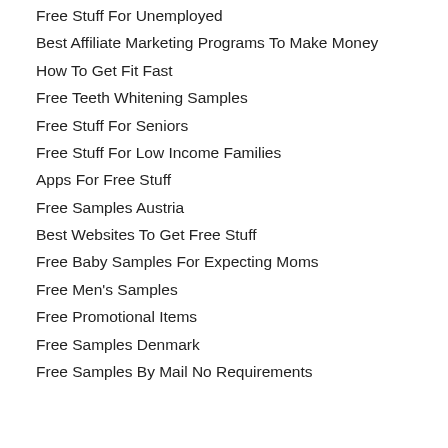Free Stuff For Unemployed
Best Affiliate Marketing Programs To Make Money
How To Get Fit Fast
Free Teeth Whitening Samples
Free Stuff For Seniors
Free Stuff For Low Income Families
Apps For Free Stuff
Free Samples Austria
Best Websites To Get Free Stuff
Free Baby Samples For Expecting Moms
Free Men's Samples
Free Promotional Items
Free Samples Denmark
Free Samples By Mail No Requirements